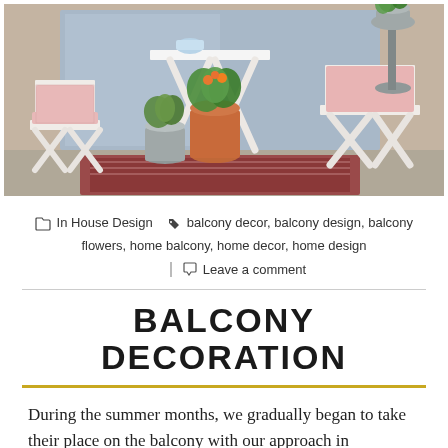[Figure (photo): A sunny balcony with white wooden folding chairs and a small white X-leg table, pink gingham cushions, potted plants including flowers and herbs in terracotta and metal pots, and a colorful rug on the floor.]
📁 In House Design  🏷 balcony decor, balcony design, balcony flowers, home balcony, home decor, home design
💬 Leave a comment
BALCONY DECORATION
During the summer months, we gradually began to take their place on the balcony with our approach in